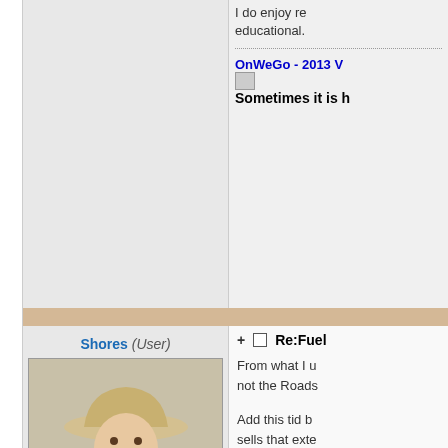I do enjoy reading it though. Very educational.
OnWeGo - 2013 V
Sometimes it is b
Shores (User)
[Figure (photo): Elderly man wearing a cowboy hat and plaid shirt, smiling]
Go getchur scooter!
Platinum Boarder
Posts: 6961
+ Re:Fuel
From what I u not the Roads
Add this tid b sells that exte Freedom dua
[Figure (photo): Partial image at bottom right, appears to be a flag or banner with red and dark colors]